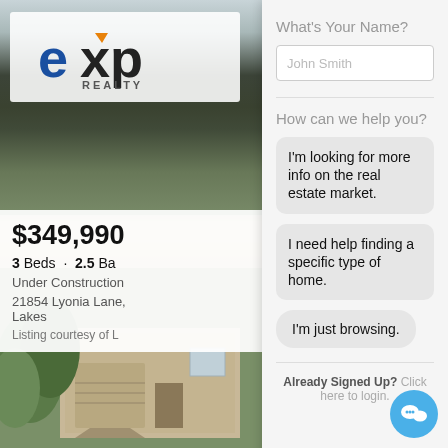[Figure (screenshot): eXp Realty website screenshot showing a property listing page with a lead capture modal overlay. Left side shows property details: $349,990, 3 Beds, 2.5 Ba, Under Construction, 21854 Lyonia Lane, Lakes. Right side modal has name input field with placeholder 'John Smith', help options including 'I'm looking for more info on the real estate market.', 'I need help finding a specific type of home.', 'I'm just browsing.' and footer 'Already Signed Up? Click here to login.']
$349,990
3 Beds · 2.5 Ba
Under Construction
21854 Lyonia Lane, Lakes
Listing courtesy of L
What's Your Name?
John Smith
How can we help you?
I'm looking for more info on the real estate market.
I need help finding a specific type of home.
I'm just browsing.
Already Signed Up? Click here to login.